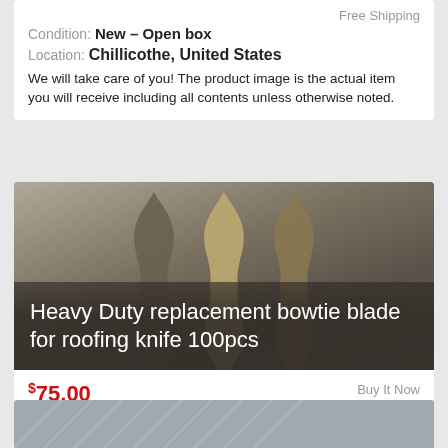Free Shipping
Condition: New – Open box
Location: Chillicothe, United States
We will take care of you! The product image is the actual item you will receive including all contents unless otherwise noted.
[Figure (photo): Three metallic bowtie-shaped roofing knife blades standing upright against a grey/brown background, with product title overlay text reading 'Heavy Duty replacement bowtie blade for roofing knife 100pcs']
$75.00
Buy It Now
Free Shipping
Condition: New
Location: Diamond Bar, United States
Heavy-duty roofing blades, bow-tie style.